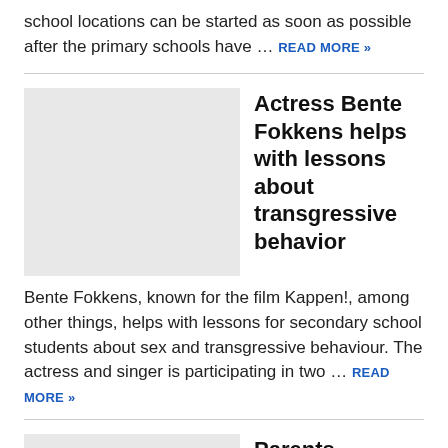school locations can be started as soon as possible after the primary schools have … READ MORE »
[Figure (photo): Placeholder image for article about Actress Bente Fokkens]
Actress Bente Fokkens helps with lessons about transgressive behavior
Bente Fokkens, known for the film Kappen!, among other things, helps with lessons for secondary school students about sex and transgressive behaviour. The actress and singer is participating in two … READ MORE »
[Figure (photo): Placeholder image for article about Parents and corona rules in schools]
Parents sometimes address teachers personally about the corona rules in schools